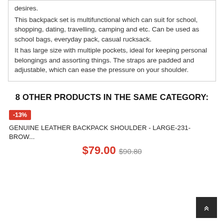desires.
This backpack set is multifunctional which can suit for school, shopping, dating, travelling, camping and etc. Can be used as school bags, everyday pack, casual rucksack.
It has large size with multiple pockets, ideal for keeping personal belongings and assorting things. The straps are padded and adjustable, which can ease the pressure on your shoulder.
8 OTHER PRODUCTS IN THE SAME CATEGORY:
-13%
GENUINE LEATHER BACKPACK SHOULDER - LARGE-231-BROW...
$79.00 $90.80